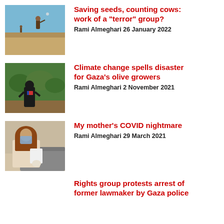[Figure (photo): Person in desert landscape throwing or releasing something into the air]
Saving seeds, counting cows: work of a “terror” group?
Rami Almeghari 26 January 2022
[Figure (photo): Woman in traditional dress among olive trees or shrubs]
Climate change spells disaster for Gaza’s olive growers
Rami Almeghari 2 November 2021
[Figure (photo): Woman with hijab and mask at a medical or hygiene station]
My mother’s COVID nightmare
Rami Almeghari 29 March 2021
Rights group protests arrest of former lawmaker by Gaza police